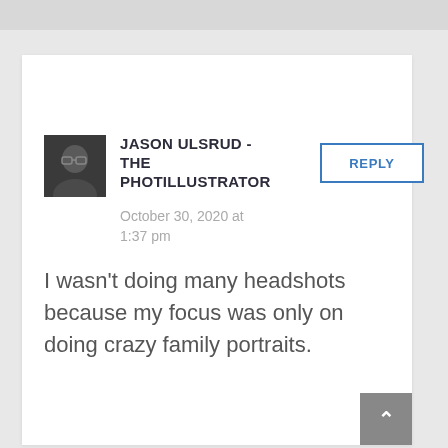[Figure (screenshot): Website comment section screenshot showing a user comment by Jason Ulsrud - The Photillustrator]
JASON ULSRUD - THE PHOTILLUSTRATOR
October 30, 2020 at 1:37 pm
I wasn't doing many headshots because my focus was only on doing crazy family portraits.